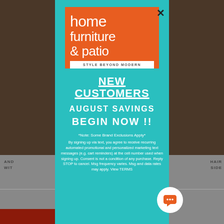[Figure (logo): Home Furniture & Patio logo - orange square with white text reading 'home furniture & patio' and white tagline bar 'STYLE BEYOND MODERN']
NEW CUSTOMERS
AUGUST SAVINGS
BEGIN NOW !!
*Note: Some Brand Exclusions Apply*
By signing up via text, you agree to receive recurring automated promotional and personalized marketing text messages (e.g. cart reminders) at the cell number used when signing up. Consent is not a condition of any purchase. Reply STOP to cancel. Msg frequency varies. Msg and data rates may apply. View TERMS